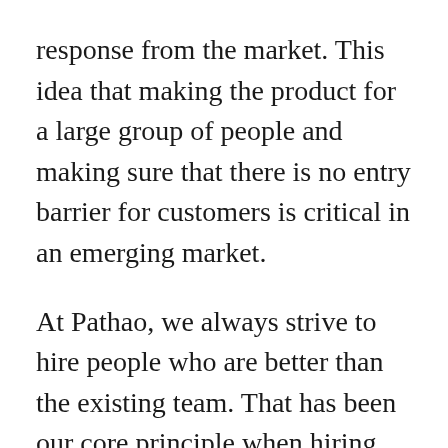response from the market. This idea that making the product for a large group of people and making sure that there is no entry barrier for customers is critical in an emerging market.
At Pathao, we always strive to hire people who are better than the existing team. That has been our core principle when hiring. We have something called the “Bar Raiser Program”, where every new hire needs to be better than the current average. The calculation of it is albeit subjective. Is this